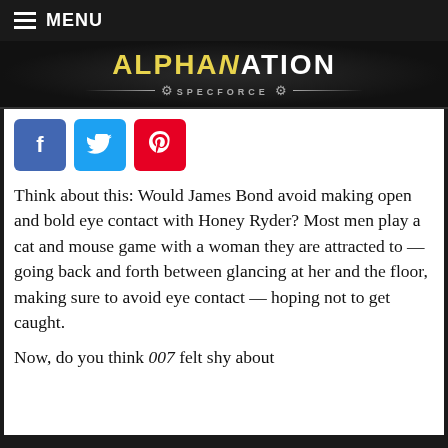MENU
[Figure (logo): AlphaNation SpecForce logo with gold and white lettering on dark background]
[Figure (infographic): Three social share buttons: Facebook (blue, f), Twitter (light blue, bird), Pinterest (red, p)]
Think about this: Would James Bond avoid making open and bold eye contact with Honey Ryder? Most men play a cat and mouse game with a woman they are attracted to — going back and forth between glancing at her and the floor, making sure to avoid eye contact — hoping not to get caught.
Now, do you think 007 felt shy about